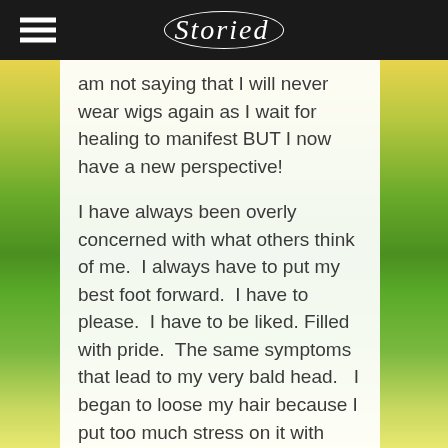Storied
am not saying that I will never wear wigs again as I wait for healing to manifest BUT I now have a new perspective!
I have always been overly concerned with what others think of me.  I always have to put my best foot forward.  I have to please.  I have to be liked. Filled with pride.  The same symptoms that lead to my very bald head.   I began to loose my hair because I put too much stress on it with chemicals